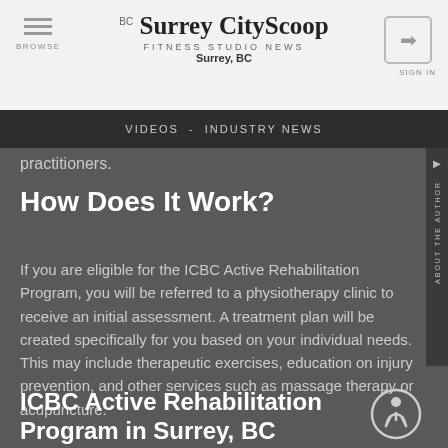Surrey CityScoop - FITNESS STUDIO NEWS - Surrey, BC
VIDEOS - INDUSTRY NEWS
practitioners.
How Does It Work?
If you are eligible for the ICBC Active Rehabilitation Program, you will be referred to a physiotherapy clinic to receive an initial assessment. A treatment plan will be created specifically for you based on your individual needs. This may include therapeutic exercises, education on injury prevention, and other services such as massage therapy or acupuncture.
ICBC Active Rehabilitation Program in Surrey, BC